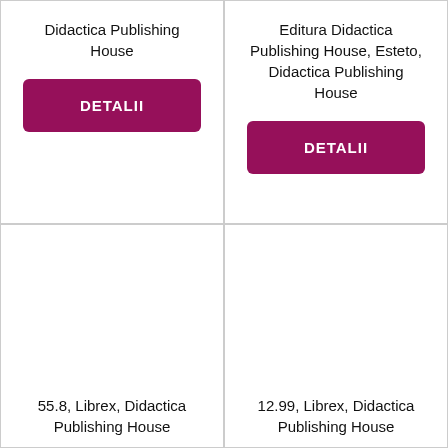Didactica Publishing House
DETALII
Editura Didactica Publishing House, Esteto, Didactica Publishing House
DETALII
55.8, Librex, Didactica Publishing House
12.99, Librex, Didactica Publishing House